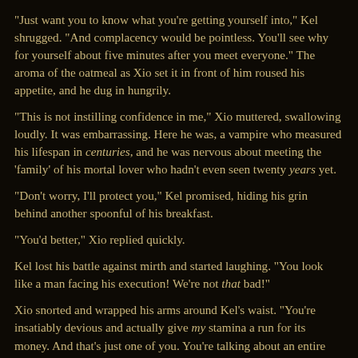"Just want you to know what you’re getting yourself into," Kel shrugged. "And complacency would be pointless. You’ll see why for yourself about five minutes after you meet everyone." The aroma of the oatmeal as Xio set it in front of him roused his appetite, and he dug in hungrily.
"This is not instilling confidence in me," Xio muttered, swallowing loudly. It was embarrassing. Here he was, a vampire who measured his lifespan in centuries, and he was nervous about meeting the ‘family’ of his mortal lover who hadn’t even seen twenty years yet.
"Don’t worry, I’ll protect you," Kel promised, hiding his grin behind another spoonful of his breakfast.
"You’d better," Xio replied quickly.
Kel lost his battle against mirth and started laughing. "You look like a man facing his execution! We’re not that bad!"
Xio snorted and wrapped his arms around Kel’s waist. "You’re insatiably devious and actually give my stamina a run for its money. And that’s just one of you. You’re talking about an entire brood. It’s a fearsome prospect."
"Hey, I’m not planning to share you that much!"